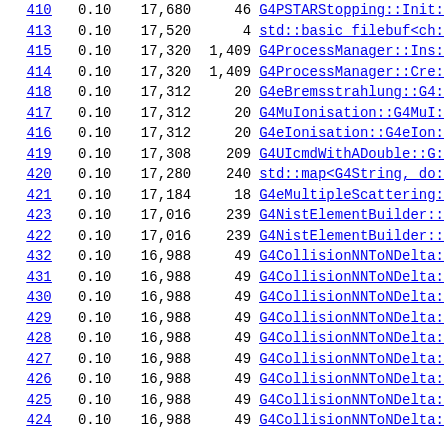| ID | Val | Count | Num | Function |
| --- | --- | --- | --- | --- |
| 410 | 0.10 | 17,680 | 46 | G4PSTARStopping::Init: |
| 413 | 0.10 | 17,520 | 4 | std::basic filebuf<ch: |
| 415 | 0.10 | 17,320 | 1,409 | G4ProcessManager::Ins: |
| 414 | 0.10 | 17,320 | 1,409 | G4ProcessManager::Cre: |
| 418 | 0.10 | 17,312 | 20 | G4eBremsstrahlung::G4: |
| 417 | 0.10 | 17,312 | 20 | G4MuIonisation::G4MuI: |
| 416 | 0.10 | 17,312 | 20 | G4eIonisation::G4eIon: |
| 419 | 0.10 | 17,308 | 209 | G4UIcmdWithADouble::G: |
| 420 | 0.10 | 17,280 | 240 | std::map<G4String, do: |
| 421 | 0.10 | 17,184 | 18 | G4eMultipleScattering: |
| 423 | 0.10 | 17,016 | 239 | G4NistElementBuilder:: |
| 422 | 0.10 | 17,016 | 239 | G4NistElementBuilder:: |
| 432 | 0.10 | 16,988 | 49 | G4CollisionNNToNDelta: |
| 431 | 0.10 | 16,988 | 49 | G4CollisionNNToNDelta: |
| 430 | 0.10 | 16,988 | 49 | G4CollisionNNToNDelta: |
| 429 | 0.10 | 16,988 | 49 | G4CollisionNNToNDelta: |
| 428 | 0.10 | 16,988 | 49 | G4CollisionNNToNDelta: |
| 427 | 0.10 | 16,988 | 49 | G4CollisionNNToNDelta: |
| 426 | 0.10 | 16,988 | 49 | G4CollisionNNToNDelta: |
| 425 | 0.10 | 16,988 | 49 | G4CollisionNNToNDelta: |
| 424 | 0.10 | 16,988 | 49 | G4CollisionNNToNDelta: |